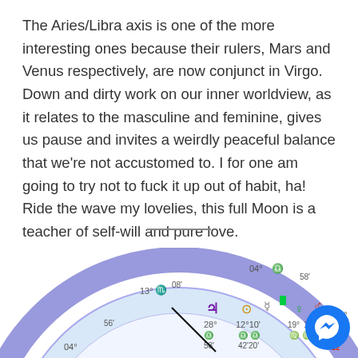The Aries/Libra axis is one of the more interesting ones because their rulers, Mars and Venus respectively, are now conjunct in Virgo. Down and dirty work on our inner worldview, as it relates to the masculine and feminine, gives us pause and invites a weirdly peaceful balance that we're not accustomed to. I for one am going to try not to fuck it up out of habit, ha! Ride the wave my lovelies, this full Moon is a teacher of self-will and pure love.
[Figure (other): Partial astrological natal chart wheel showing planetary symbols and degree positions including Jupiter (2+, 28°), Sun (⊙, 12°10'), Mercury (☿), Venus (♀, 19°), Mars (♂, 19°), and other placements with degree markers 04°, 13°, 56', 58', 04°, 26°, zodiac signs Scorpio and Libra visible, blue circular wheel with light blue inner ring.]